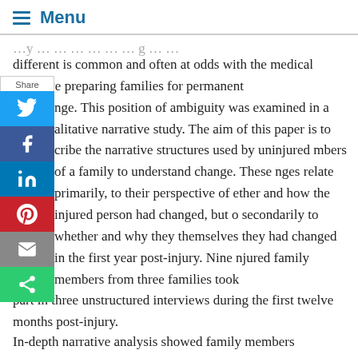Menu
different is common and often at odds with the medical narrative preparing families for permanent change. This position of ambiguity was examined in a qualitative narrative study. The aim of this paper is to describe the narrative structures used by uninjured members of a family to understand change. These changes relate primarily, to their perspective of whether and how the injured person had changed, but also secondarily to whether and why they themselves felt they had changed in the first year post-injury. Nine uninjured family members from three families took part in three unstructured interviews during the first twelve months post-injury.
In-depth narrative analysis showed family members